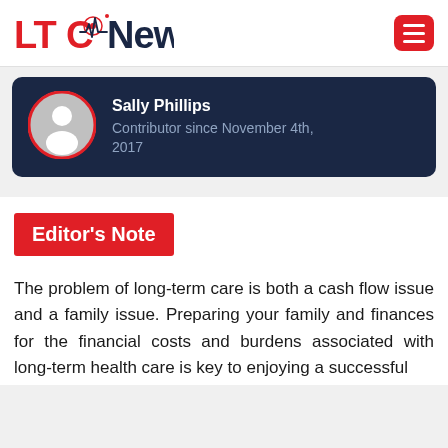LTC News
[Figure (infographic): Author profile card for Sally Phillips on dark navy background with circular avatar icon. Text: Sally Phillips, Contributor since November 4th, 2017]
Editor's Note
The problem of long-term care is both a cash flow issue and a family issue. Preparing your family and finances for the financial costs and burdens associated with long-term health care is key to enjoying a successful